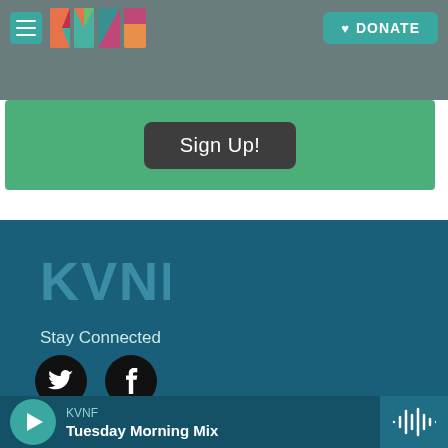[Figure (screenshot): KVNF radio website screenshot showing header navigation bar with hamburger menu, KVNF colorful logo, and teal DONATE button with heart icon]
Sign Up!
[Figure (logo): KVNF logo in footer - stylized letters with nature/mountain photo texture in dark teal background]
Stay Connected
[Figure (illustration): Twitter bird icon in black circle and Facebook f icon in black circle]
© 2022 KVNF Public Radio
About KVNF
KVNF Tuesday Morning Mix